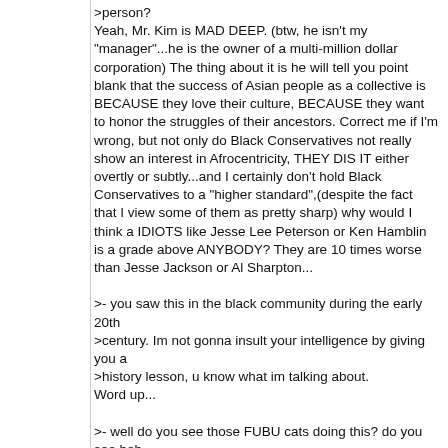>person?
Yeah, Mr. Kim is MAD DEEP. (btw, he isn't my "manager"...he is the owner of a multi-million dollar corporation) The thing about it is he will tell you point blank that the success of Asian people as a collective is BECAUSE they love their culture, BECAUSE they want to honor the struggles of their ancestors. Correct me if I'm wrong, but not only do Black Conservatives not really show an interest in Afrocentricity, THEY DIS IT either overtly or subtly...and I certainly don't hold Black Conservatives to a "higher standard",(despite the fact that I view some of them as pretty sharp) why would I think a IDIOTS like Jesse Lee Peterson or Ken Hamblin is a grade above ANYBODY? They are 10 times worse than Jesse Jackson or Al Sharpton...
>- you saw this in the black community during the early 20th
>century. Im not gonna insult your intelligence by giving you a
>history lesson, u know what im talking about.
Word up...
>- well do you see those FUBU cats doing this? do you see bob
>johnson doing this? oprah? russell simmons? why are you riding
>black conservatives so hard on this...and besides, dont you
>think the problems africans are facing over there are more
>important than trying to financially "build" with them right
>now?
Those FUBU cats don't even own FUBU, they sold it to a
consortium of Japanese businessmen years ago. Oprah...